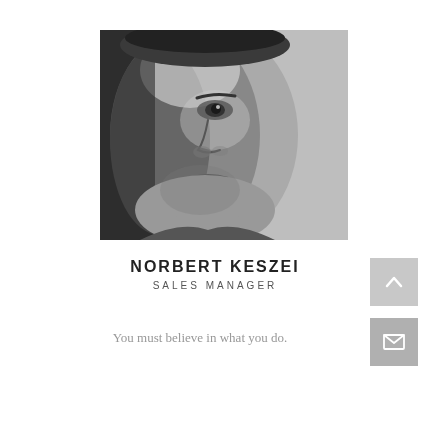[Figure (photo): Black and white close-up portrait photo of a man showing half his face, with short hair and stubble, against a light gray background.]
NORBERT KESZEI
SALES MANAGER
You must believe in what you do.